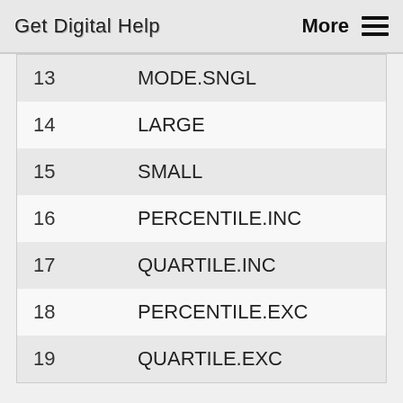Get Digital Help   More ☰
| 13 | MODE.SNGL |
| 14 | LARGE |
| 15 | SMALL |
| 16 | PERCENTILE.INC |
| 17 | QUARTILE.INC |
| 18 | PERCENTILE.EXC |
| 19 | QUARTILE.EXC |